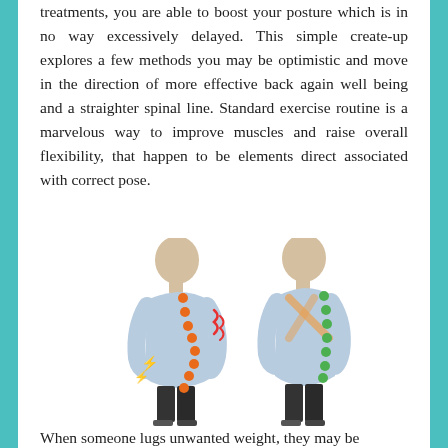treatments, you are able to boost your posture which is in no way excessively delayed. This simple create-up explores a few methods you may be optimistic and move in the direction of more effective back again well being and a straighter spinal line. Standard exercise routine is a marvelous way to improve muscles and raise overall flexibility, that happen to be elements direct associated with correct pose.
[Figure (illustration): Two men shown in profile/side view illustrating bad posture (left, with curved spine shown by orange dots and red pain indicators) versus good posture (right, with straight spine shown by green dots and posture corrector brace visible).]
When someone lugs unwanted weight, they may be